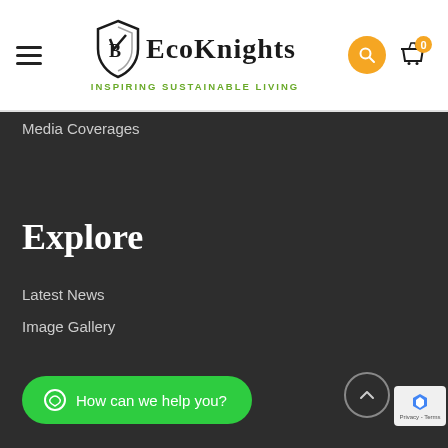[Figure (logo): EcoKnights logo with shield icon and text 'EcoKnights INSPIRING SUSTAINABLE LIVING']
Media Coverages
Explore
Latest News
Image Gallery
How can we help you?